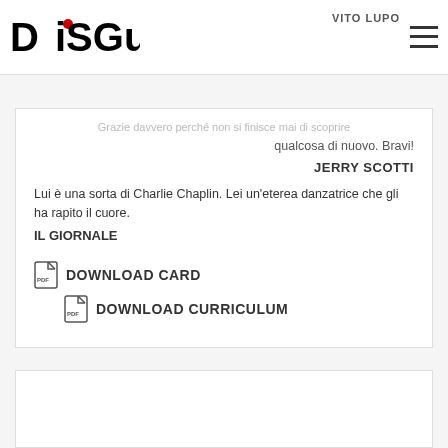VITO LUPO
[Figure (logo): Disguido logo in black and white with red dot on the letter i]
Non c'è ora di rivederli
Grazie davvero perché non si finisce mai di scoprire qualcosa di nuovo. Bravi!
JERRY SCOTTI
Lui è una sorta di Charlie Chaplin. Lei un'eterea danzatrice che gli ha rapito il cuore.
IL GIORNALE
DOWNLOAD CARD
DOWNLOAD CURRICULUM